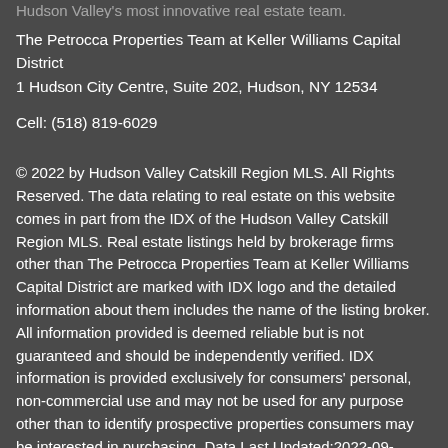Hudson Valley's most innovative real estate team.
The Petrocca Properties Team at Keller Williams Capital District
1 Hudson City Centre, Suite 202, Hudson, NY 12534
Cell: (518) 819-6029
© 2022 by Hudson Valley Catskill Region MLS. All Rights Reserved. The data relating to real estate on this website comes in part from the IDX of the Hudson Valley Catskill Region MLS. Real estate listings held by brokerage firms other than The Petrocca Properties Team at Keller Williams Capital District are marked with IDX logo and the detailed information about them includes the name of the listing broker. All information provided is deemed reliable but is not guaranteed and should be independently verified. IDX information is provided exclusively for consumers' personal, non-commercial use and may not be used for any purpose other than to identify prospective properties consumers may be interested in purchasing. Data Last Updated:2022-09-05T23:18:33.153
© 2022 Columbia Greene and Northern Dutchess MLS. All rights